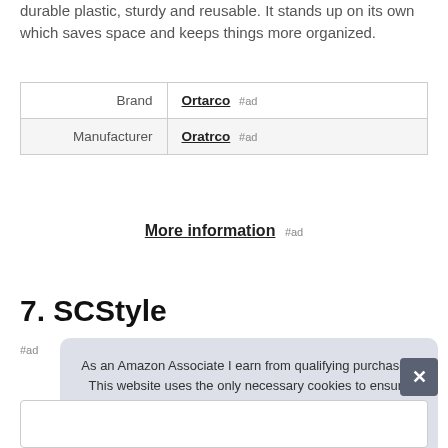durable plastic, sturdy and reusable. It stands up on its own which saves space and keeps things more organized.
| Brand | Ortarco #ad |
| Manufacturer | Oratrco #ad |
More information #ad
7. SCStyle
As an Amazon Associate I earn from qualifying purchases. This website uses the only necessary cookies to ensure you get the best experience on our website. More information
#ad